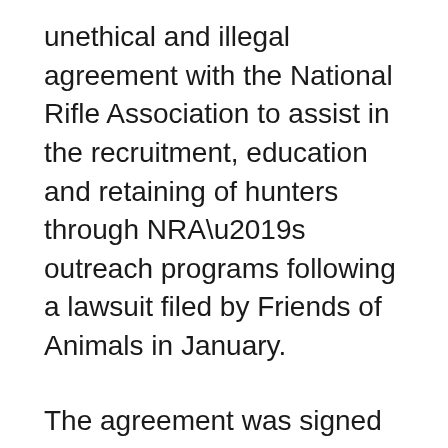unethical and illegal agreement with the National Rifle Association to assist in the recruitment, education and retaining of hunters through NRA’s outreach programs following a lawsuit filed by Friends of Animals in January.
The agreement was signed by the former Trump administration just a week before President Biden’s inauguration.
Within days of the agreement, FoA filed a lawsuit and urged FWS to rescind the agreement. On May 5, the new director